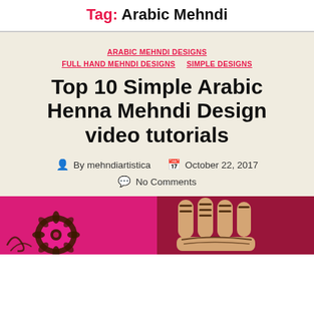Tag: Arabic Mehndi
ARABIC MEHNDI DESIGNS
FULL HAND MEHNDI DESIGNS   SIMPLE DESIGNS
Top 10 Simple Arabic Henna Mehndi Design video tutorials
By mehndiartistica   October 22, 2017
No Comments
[Figure (photo): Two photos of henna mehndi designs: left shows a floral circular henna pattern on a pink background, right shows henna designs on fingers/hand on a red background.]